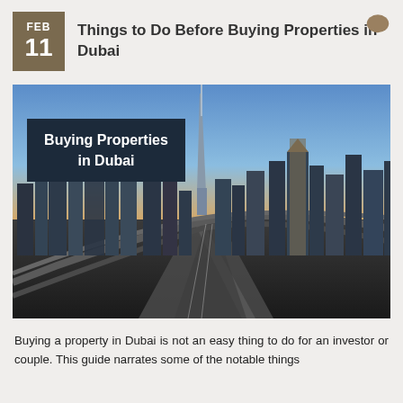FEB 11 — Things to Do Before Buying Properties in Dubai
[Figure (photo): Aerial panoramic photo of Dubai skyline at sunset with Burj Khalifa prominent in center, highways and skyscrapers visible, overlaid with text 'Buying Properties in Dubai' in a dark navy box.]
Buying a property in Dubai is not an easy thing to do for an investor or couple. This guide narrates some of the notable things